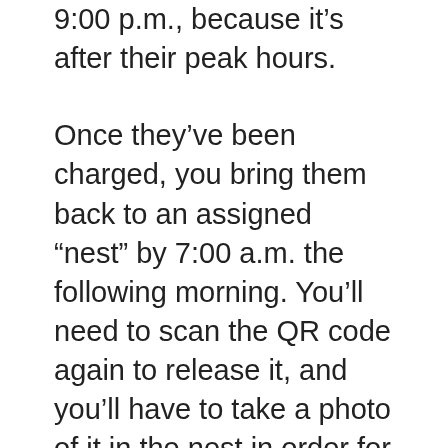9:00 p.m., because it’s after their peak hours.
Once they’ve been charged, you bring them back to an assigned “nest” by 7:00 a.m. the following morning. You’ll need to scan the QR code again to release it, and you’ll have to take a photo of it in the nest in order for it to technically be complete.
It’s worth taking into consideration that each scooter weighs from 25-35 pounds, and Bird’s scooters don’t fold (although some other companies’ do). So, the bigger your vehicle is, the easier it will be to carry